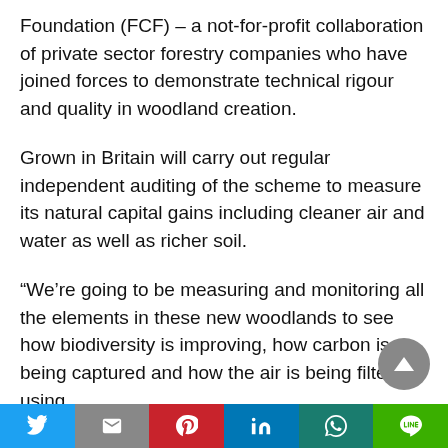Foundation (FCF) – a not-for-profit collaboration of private sector forestry companies who have joined forces to demonstrate technical rigour and quality in woodland creation.
Grown in Britain will carry out regular independent auditing of the scheme to measure its natural capital gains including cleaner air and water as well as richer soil.
“We’re going to be measuring and monitoring all the elements in these new woodlands to see how biodiversity is improving, how carbon is being captured and how the air is being filtered using